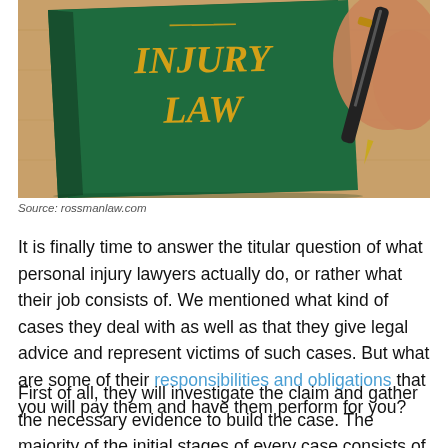[Figure (photo): A green hardcover book titled 'INJURY LAW' with gold lettering on the cover, with a fountain pen visible in the upper right corner, set on a wooden surface.]
Source: rossmanlaw.com
It is finally time to answer the titular question of what personal injury lawyers actually do, or rather what their job consists of. We mentioned what kind of cases they deal with as well as that they give legal advice and represent victims of such cases. But what are some of their responsibilities and obligations that you will pay them and have them perform for you?
First of all, they will investigate the claim and gather the necessary evidence to build the case. The majority of the initial stages of every case consists of documenting